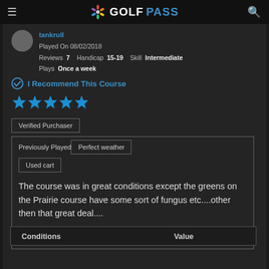GOLFPASS
tankrull
Played On 08/02/2018
Reviews 7  Handicap 15-19  Skill Intermediate
Plays Once a week
I Recommend This Course
[Figure (other): 5 blue stars rating]
Verified Purchaser
Previously Played
Perfect weather
Used cart
The course was in great conditions except the greens on the Prairie course have some sort of fungus etc....other then that great deal....
| Conditions | Value |
| --- | --- |